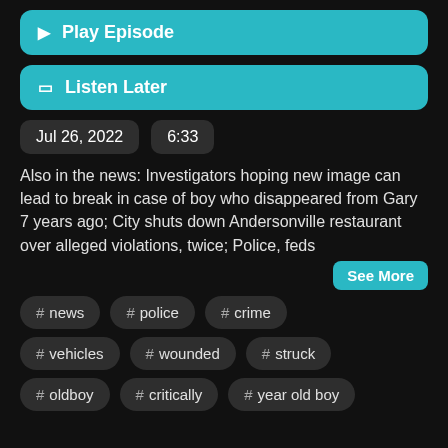▶ Play Episode
☐ Listen Later
Jul 26, 2022
6:33
Also in the news: Investigators hoping new image can lead to break in case of boy who disappeared from Gary 7 years ago; City shuts down Andersonville restaurant over alleged violations, twice; Police, feds
See More
# news
# police
# crime
# vehicles
# wounded
# struck
# oldboy
# critically
# year old boy